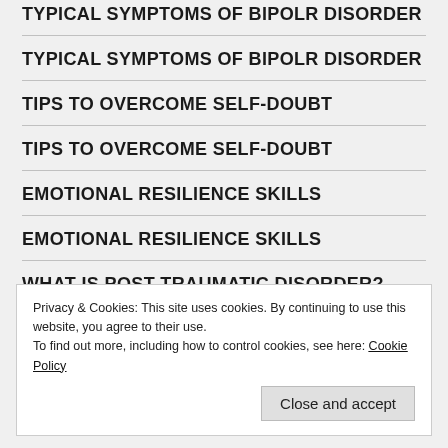TYPICAL SYMPTOMS OF BIPOLR DISORDER
TYPICAL SYMPTOMS OF BIPOLR DISORDER
TIPS TO OVERCOME SELF-DOUBT
TIPS TO OVERCOME SELF-DOUBT
EMOTIONAL RESILIENCE SKILLS
EMOTIONAL RESILIENCE SKILLS
WHAT IS POST TRAUMATIC DISORDER?
WHAT IS POST TRAUMATIC DISORDER?
Privacy & Cookies: This site uses cookies. By continuing to use this website, you agree to their use.
To find out more, including how to control cookies, see here: Cookie Policy
Close and accept